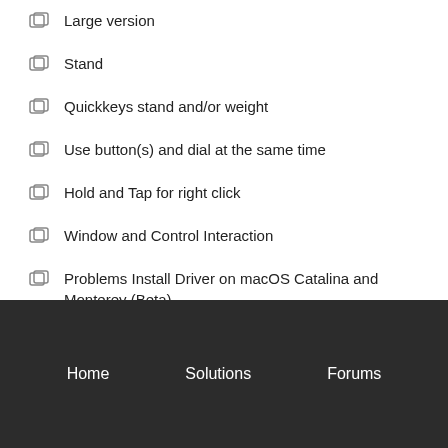Large version
Stand
Quickkeys stand and/or weight
Use button(s) and dial at the same time
Hold and Tap for right click
Window and Control Interaction
Problems Install Driver on macOS Catalina and Monterey (Beta)
See all 33 topics
Home    Solutions    Forums